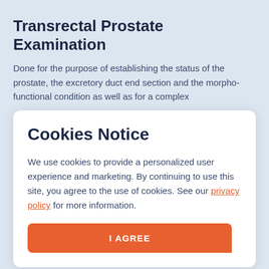Transrectal Prostate Examination
Done for the purpose of establishing the status of the prostate, the excretory duct end section and the morpho-functional condition as well as for a complex
Cookies Notice
We use cookies to provide a personalized user experience and marketing. By continuing to use this site, you agree to the use of cookies. See our privacy policy for more information.
I AGREE